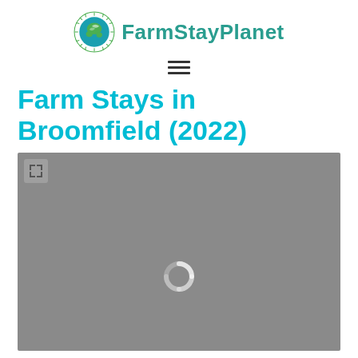FarmStayPlanet
Farm Stays in Broomfield (2022)
[Figure (map): An embedded map placeholder showing a loading spinner and expand icon, gray background indicating a map is loading for Broomfield farm stays.]